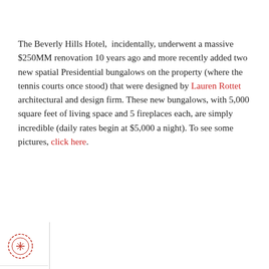The Beverly Hills Hotel, incidentally, underwent a massive $250MM renovation 10 years ago and more recently added two new spatial Presidential bungalows on the property (where the tennis courts once stood) that were designed by Lauren Rottet architectural and design firm. These new bungalows, with 5,000 square feet of living space and 5 fireplaces each, are simply incredible (daily rates begin at $5,000 a night). To see some pictures, click here.
[Figure (other): Circular stamp/seal icon on left sidebar]
[Figure (other): Social media icons: Facebook, Instagram, Twitter, Email in a vertical sidebar strip]